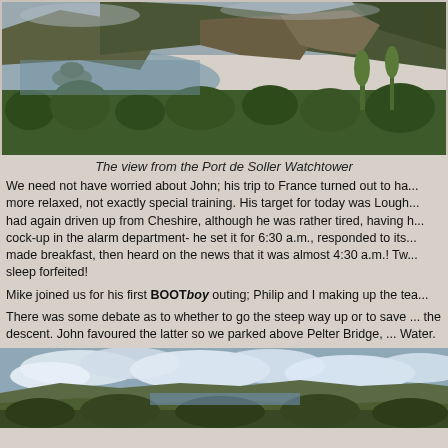[Figure (photo): Panoramic view from Port de Soller Watchtower showing mountains, sea, small island, and green vegetation in foreground]
The view from the Port de Soller Watchtower
We need not have worried about John; his trip to France turned out to ha... more relaxed, not exactly special training. His target for today was Lough... had again driven up from Cheshire, although he was rather tired, having h... cock-up in the alarm department- he set it for 6:30 a.m., responded to its... made breakfast, then heard on the news that it was almost 4:30 a.m.! Tw... sleep forfeited!
Mike joined us for his first BOOTboy outing; Philip and I making up the tea...
There was some debate as to whether to go the steep way up or to save ... the descent. John favoured the latter so we parked above Pelter Bridge, ... Water.
[Figure (photo): Panoramic landscape photo showing hills, cloudy sky, and green vegetation]